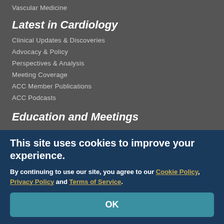Vascular Medicine
Latest in Cardiology
Clinical Updates & Discoveries
Advocacy & Policy
Perspectives & Analysis
Meeting Coverage
ACC Member Publications
ACC Podcasts
Education and Meetings
Online Learning Catalog
Understanding MOC
Products and Resources
Image and Slide Gallery
Meetings
Tools and Practice Support
This site uses cookies to improve your experience.
By continuing to use our site, you agree to our Cookie Policy, Privacy Policy and Terms of Service.
OK